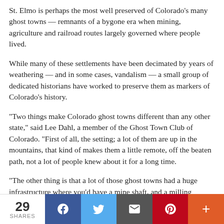St. Elmo is perhaps the most well preserved of Colorado’s many ghost towns — remnants of a bygone era when mining, agriculture and railroad routes largely governed where people lived.
While many of these settlements have been decimated by years of weathering — and in some cases, vandalism — a small group of dedicated historians have worked to preserve them as markers of Colorado’s history.
“Two things make Colorado ghost towns different than any other state,” said Lee Dahl, a member of the Ghost Town Club of Colorado. “First of all, the setting; a lot of them are up in the mountains, that kind of makes them a little remote, off the beaten path, not a lot of people knew about it for a long time.
“The other thing is that a lot of those ghost towns had a huge infrastructure where you’d have a mine shaft, and a milling building — and the elements were there that were built — the
29 SHARES | Facebook | Twitter | Email | Pinterest | More